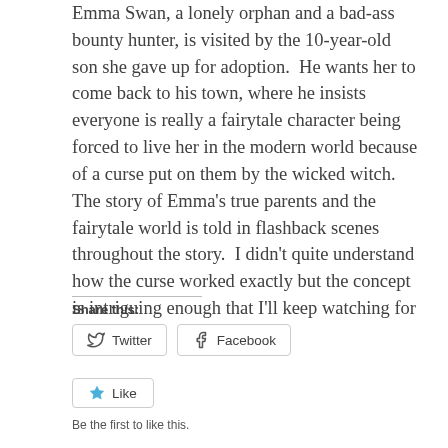Emma Swan, a lonely orphan and a bad-ass bounty hunter, is visited by the 10-year-old son she gave up for adoption.  He wants her to come back to his town, where he insists everyone is really a fairytale character being forced to live her in the modern world because of a curse put on them by the wicked witch.  The story of Emma's true parents and the fairytale world is told in flashback scenes throughout the story.  I didn't quite understand how the curse worked exactly but the concept is intriguing enough that I'll keep watching for now.
Share this:
Twitter
Facebook
Like
Be the first to like this.